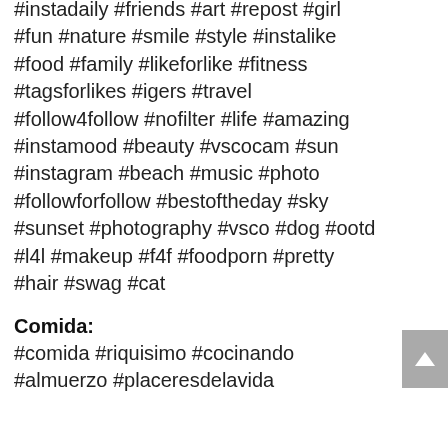#instadaily #friends #art #repost #girl #fun #nature #smile #style #instalike #food #family #likeforlike #fitness #tagsforlikes #igers #travel #follow4follow #nofilter #life #amazing #instamood #beauty #vscocam #sun #instagram #beach #music #photo #followforfollow #bestoftheday #sky #sunset #photography #vsco #dog #ootd #l4l #makeup #f4f #foodporn #pretty #hair #swag #cat
Comida:
#comida #riquisimo #cocinando #almuerzo #placeresdelavida